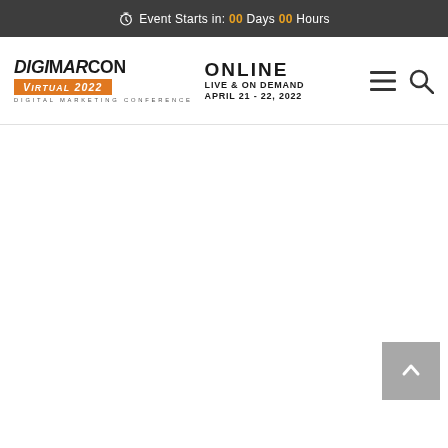Event Starts in: 00 Days 00 Hours
[Figure (logo): DigiMarCon Virtual 2022 Digital Marketing Conference logo with ONLINE LIVE & ON DEMAND APRIL 21 - 22, 2022 text, hamburger menu and search icons]